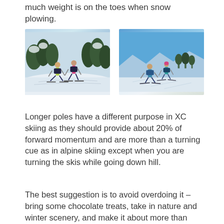much weight is on the toes when snow plowing.
[Figure (photo): Two cross-country skiers on a snowy trail surrounded by snow-covered trees. One skier wears a yellow vest and the other wears a pink jacket.]
[Figure (photo): Two cross-country skiers on a groomed snow trail under a clear blue sky with trees in the background.]
Longer poles have a different purpose in XC skiing as they should provide about 20% of forward momentum and are more than a turning cue as in alpine skiing except when you are turning the skis while going down hill.
The best suggestion is to avoid overdoing it – bring some chocolate treats, take in nature and winter scenery, and make it about more than skiing, and it can give you a quality experience